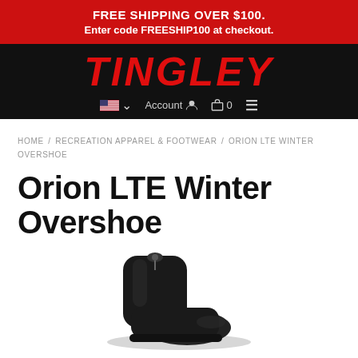FREE SHIPPING OVER $100. Enter code FREESHIP100 at checkout.
[Figure (logo): Tingley brand logo in red italic bold text on black background, with navigation icons (flag, account, cart, menu)]
HOME / RECREATION APPAREL & FOOTWEAR / ORION LTE WINTER OVERSHOE
Orion LTE Winter Overshoe
[Figure (photo): Black winter overshoe product photo, partially cropped at bottom of page]